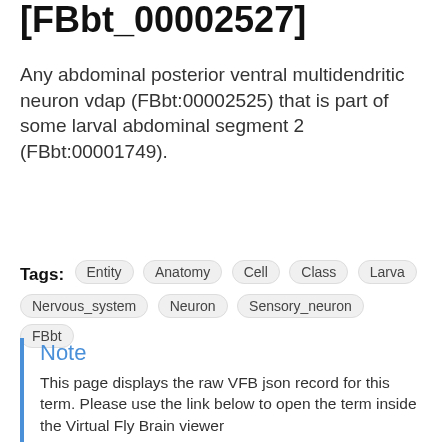[FBbt_00002527]
Any abdominal posterior ventral multidendritic neuron vdap (FBbt:00002525) that is part of some larval abdominal segment 2 (FBbt:00001749).
Tags: Entity  Anatomy  Cell  Class  Larva  Nervous_system  Neuron  Sensory_neuron  FBbt
Note
This page displays the raw VFB json record for this term. Please use the link below to open the term inside the Virtual Fly Brain viewer